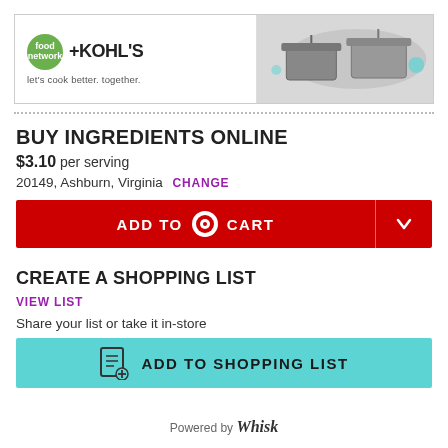[Figure (screenshot): Food Network + Kohl's banner advertisement showing logo and cookware photo with tagline 'let's cook better. together.']
BUY INGREDIENTS ONLINE
$3.10 per serving
20149, Ashburn, Virginia CHANGE
ADD TO CART
CREATE A SHOPPING LIST
VIEW LIST
Share your list or take it in-store
ADD TO SHOPPING LIST
Powered by Whisk